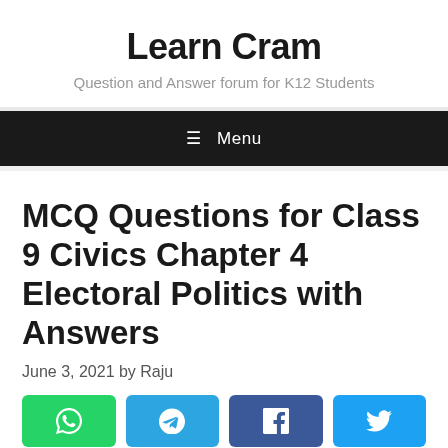Learn Cram
Question and Answer forum for K12 Students
MCQ Questions for Class 9 Civics Chapter 4 Electoral Politics with Answers
June 3, 2021 by Raju